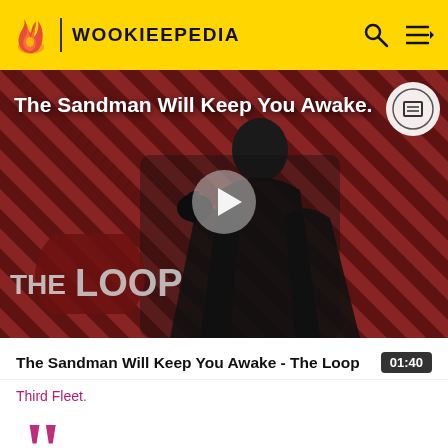WOOKIEEPEDIA
[Figure (screenshot): Video thumbnail for 'The Sandman Will Keep You Awake - The Loop' showing a dark figure in black robes against a diagonal striped red/dark background with 'THE LOOP' logo overlay and a play button in the center]
The Sandman Will Keep You Awake - The Loop
01:40
Third Fleet.
[Figure (illustration): Large opening quotation marks in dark red/maroon color]